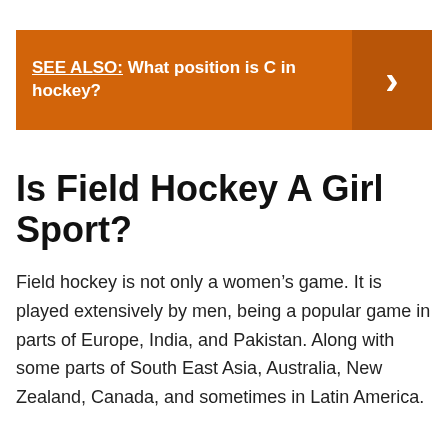SEE ALSO:  What position is C in hockey?
Is Field Hockey A Girl Sport?
Field hockey is not only a women’s game. It is played extensively by men, being a popular game in parts of Europe, India, and Pakistan. Along with some parts of South East Asia, Australia, New Zealand, Canada, and sometimes in Latin America.